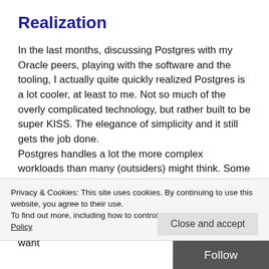Realization
In the last months, discussing Postgres with my Oracle peers, playing with the software and the tooling, I actually quite quickly realized Postgres is a lot cooler, at least to me. Not so much of the overly complicated technology, but rather built to be super KISS. The elegance of simplicity and it still gets the job done.
Postgres handles a lot the more complex workloads than many (outsiders) might think. Some pretty serious mission-critical workloads are handled by Postgres today. Well, basically, it has been doing this for many, many years. This obviously is very little known, because who would want
Privacy & Cookies: This site uses cookies. By continuing to use this website, you agree to their use.
To find out more, including how to control cookies, see here: Cookie Policy
Close and accept
Follow